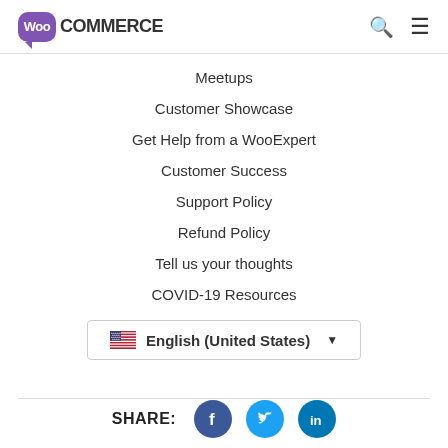WooCommerce
Meetups
Customer Showcase
Get Help from a WooExpert
Customer Success
Support Policy
Refund Policy
Tell us your thoughts
COVID-19 Resources
English (United States)
SHARE: